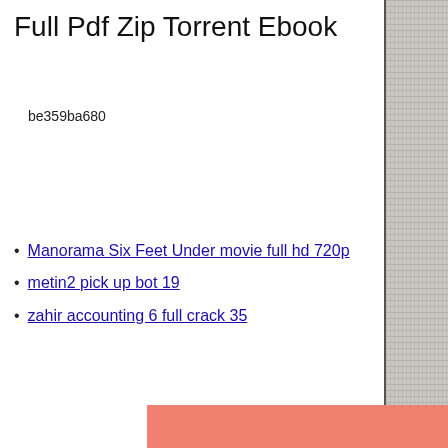Full Pdf Zip Torrent Ebook
be359ba680
Manorama Six Feet Under movie full hd 720p
metin2 pick up bot 19
zahir accounting 6 full crack 35
[Figure (illustration): Salmon/coral colored rectangle block at the bottom of the page]